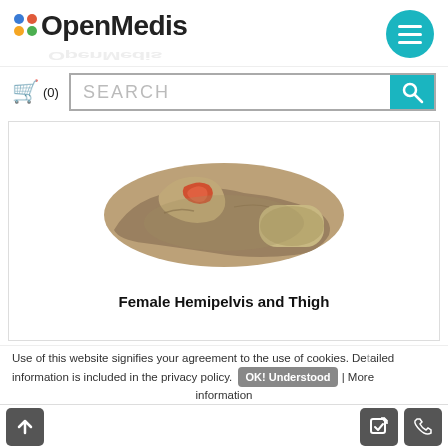[Figure (logo): OpenMedis logo with colored dots and text, plus hamburger menu button]
[Figure (screenshot): Shopping cart icon with (0) count and search bar with teal search button]
[Figure (photo): Female Hemipelvis and Thigh anatomical specimen/model photo on white background]
Female Hemipelvis and Thigh
Use of this website signifies your agreement to the use of cookies. Detailed information is included in the privacy policy. | More information
OK! Understood | More information